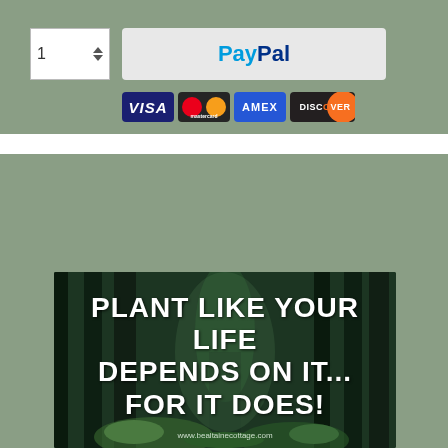[Figure (screenshot): E-commerce checkout widget showing quantity selector with '1' and up/down arrows, a PayPal button, and credit card logos for VISA, Mastercard, AMEX, and Discover]
[Figure (photo): Forest scene with text overlay reading 'PLANT LIKE YOUR LIFE DEPENDS ON IT... FOR IT DOES!' and URL www.bealtainecottage.com]